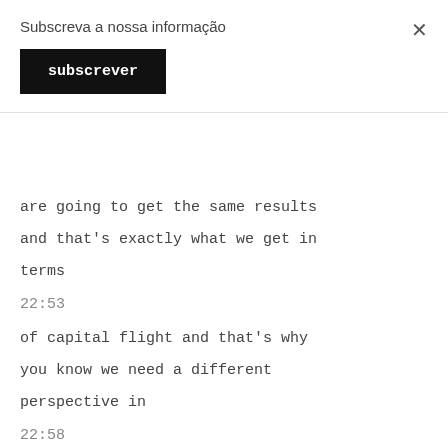Subscreva a nossa informação
subscrever
× (close)
are going to get the same results and that's exactly what we get in terms
22:53
of capital flight and that's why you know we need a different perspective in
22:58
terms of what can change this picture and i think one of the